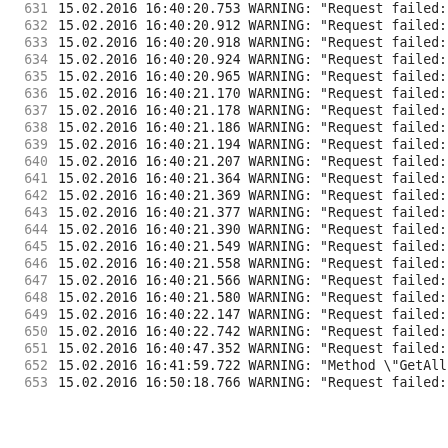631  15.02.2016 16:40:20.753 WARNING: "Request failed:
632  15.02.2016 16:40:20.912 WARNING: "Request failed:
633  15.02.2016 16:40:20.918 WARNING: "Request failed:
634  15.02.2016 16:40:20.924 WARNING: "Request failed:
635  15.02.2016 16:40:20.965 WARNING: "Request failed:
636  15.02.2016 16:40:21.170 WARNING: "Request failed:
637  15.02.2016 16:40:21.178 WARNING: "Request failed:
638  15.02.2016 16:40:21.186 WARNING: "Request failed:
639  15.02.2016 16:40:21.194 WARNING: "Request failed:
640  15.02.2016 16:40:21.207 WARNING: "Request failed:
641  15.02.2016 16:40:21.364 WARNING: "Request failed:
642  15.02.2016 16:40:21.369 WARNING: "Request failed:
643  15.02.2016 16:40:21.377 WARNING: "Request failed:
644  15.02.2016 16:40:21.390 WARNING: "Request failed:
645  15.02.2016 16:40:21.549 WARNING: "Request failed:
646  15.02.2016 16:40:21.558 WARNING: "Request failed:
647  15.02.2016 16:40:21.566 WARNING: "Request failed:
648  15.02.2016 16:40:21.580 WARNING: "Request failed:
649  15.02.2016 16:40:22.147 WARNING: "Request failed:
650  15.02.2016 16:40:22.742 WARNING: "Request failed:
651  15.02.2016 16:40:47.352 WARNING: "Request failed:
652  15.02.2016 16:41:59.722 WARNING: "Method \"GetAll
653  15.02.2016 16:50:18.766 WARNING: "Request failed: